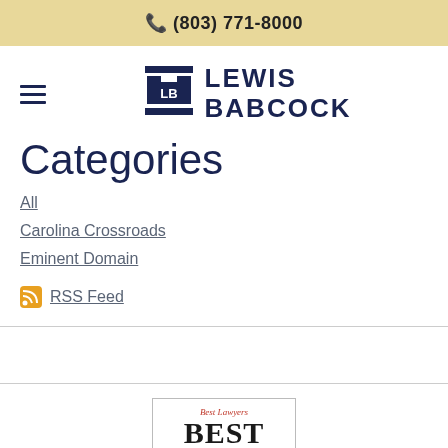📞 (803) 771-8000
[Figure (logo): Lewis Babcock law firm logo with column icon and LB monogram]
Categories
All
Carolina Crossroads
Eminent Domain
RSS Feed
[Figure (logo): Best Lawyers Best Law Firms badge]